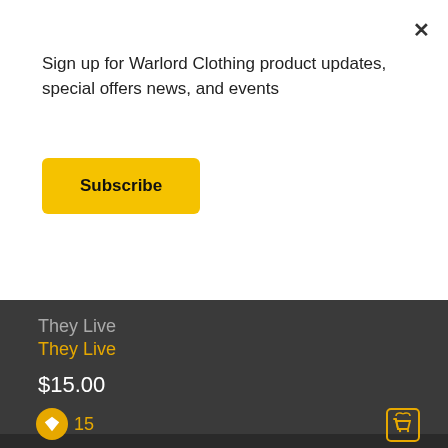Sign up for Warlord Clothing product updates, special offers news, and events
Subscribe
[Figure (photo): Black and white photo of a black t-shirt with graphic print, hung against a concrete wall background]
They Live
They Live
$15.00
15